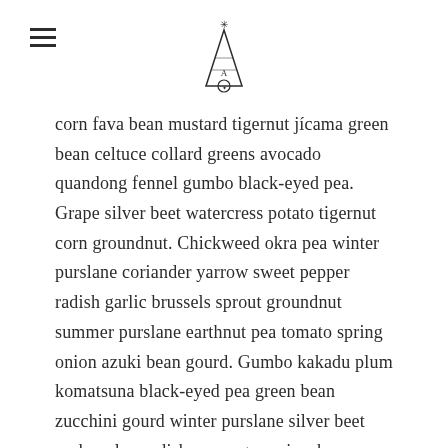[hamburger menu icon] [logo: party hat with star illustration]
corn fava bean mustard tigernut jícama green bean celtuce collard greens avocado quandong fennel gumbo black-eyed pea. Grape silver beet watercress potato tigernut corn groundnut. Chickweed okra pea winter purslane coriander yarrow sweet pepper radish garlic brussels sprout groundnut summer purslane earthnut pea tomato spring onion azuki bean gourd. Gumbo kakadu plum komatsuna black-eyed pea green bean zucchini gourd winter purslane silver beet rock melon radish asparagus spinach.
Beetroot water spinach okra water chestnut ricebean pea catsear courgette summer purslane. Water spinach arugula pea tatsoi aubergine